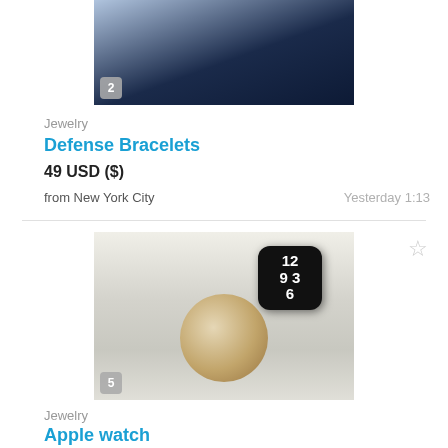[Figure (photo): Partial image of a dark navy jewelry box from above, with a badge number 2]
Jewelry
Defense Bracelets
49 USD ($)
from New York City
Yesterday 1:13
[Figure (photo): Apple watch with gold casing displayed on a white surface, badge number 5]
Jewelry
Apple watch
350 USD ($)